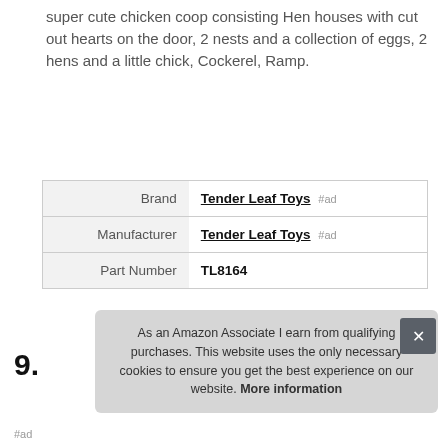super cute chicken coop consisting Hen houses with cut out hearts on the door, 2 nests and a collection of eggs, 2 hens and a little chick, Cockerel, Ramp.
|  |  |
| --- | --- |
| Brand | Tender Leaf Toys #ad |
| Manufacturer | Tender Leaf Toys #ad |
| Part Number | TL8164 |
More information #ad
9.
As an Amazon Associate I earn from qualifying purchases. This website uses the only necessary cookies to ensure you get the best experience on our website. More information
#ad